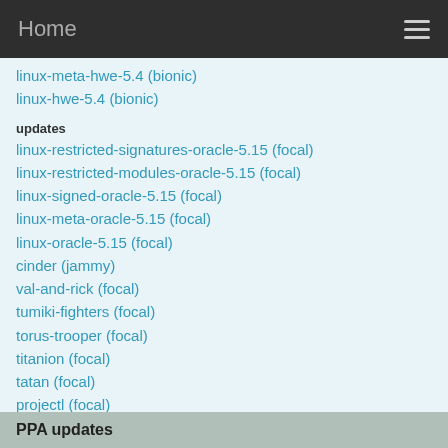Home
linux-meta-hwe-5.4 (bionic)
linux-hwe-5.4 (bionic)
updates
linux-restricted-signatures-oracle-5.15 (focal)
linux-restricted-modules-oracle-5.15 (focal)
linux-signed-oracle-5.15 (focal)
linux-meta-oracle-5.15 (focal)
linux-oracle-5.15 (focal)
cinder (jammy)
val-and-rick (focal)
tumiki-fighters (focal)
torus-trooper (focal)
titanion (focal)
tatan (focal)
projectl (focal)
parsec47 (focal)
See all
PPA updates